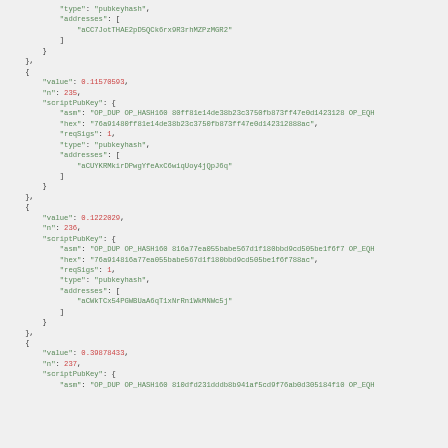JSON code showing blockchain transaction output entries with values 0.11570593, 0.1222829, 0.39878433 for n: 235, 236, 237 respectively with scriptPubKey details including asm, hex, reqSigs, type pubkeyhash, and addresses.